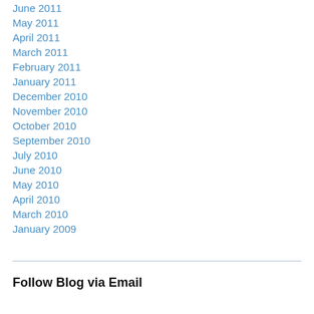June 2011
May 2011
April 2011
March 2011
February 2011
January 2011
December 2010
November 2010
October 2010
September 2010
July 2010
June 2010
May 2010
April 2010
March 2010
January 2009
Follow Blog via Email